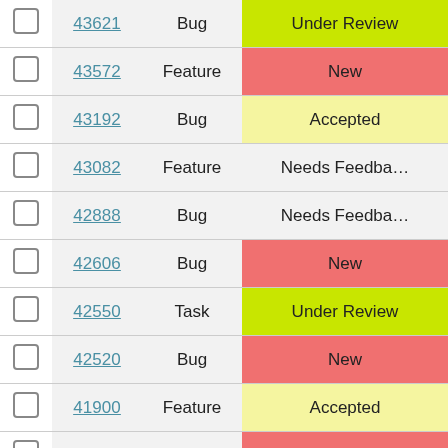|  | ID | Type | Status |
| --- | --- | --- | --- |
|  | 43621 | Bug | Under Review |
|  | 43572 | Feature | New |
|  | 43192 | Bug | Accepted |
|  | 43082 | Feature | Needs Feedback |
|  | 42888 | Bug | Needs Feedback |
|  | 42606 | Bug | New |
|  | 42550 | Task | Under Review |
|  | 42520 | Bug | New |
|  | 41900 | Feature | Accepted |
|  | 41832 | Task | New |
|  | 41807 | Task | Under Review |
|  | 41727 | Bug | Accepted |
|  | 41533 | Bug | Needs Feedback |
|  | 41496 | Bug | New |